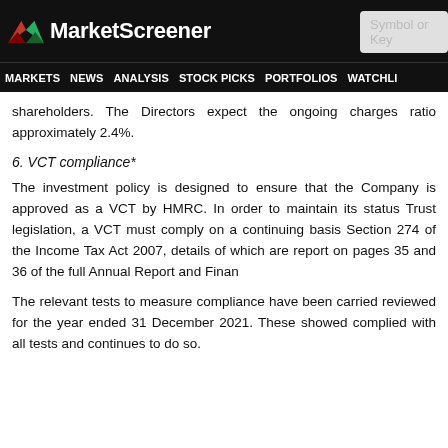MarketScreener
MARKETS NEWS ANALYSIS STOCK PICKS PORTFOLIOS WATCHLI
shareholders. The Directors expect the ongoing charges ratio approximately 2.4%.
6. VCT compliance*
The investment policy is designed to ensure that the Company is approved as a VCT by HMRC. In order to maintain its status Trust legislation, a VCT must comply on a continuing basis Section 274 of the Income Tax Act 2007, details of which are report on pages 35 and 36 of the full Annual Report and Finan
The relevant tests to measure compliance have been carried reviewed for the year ended 31 December 2021. These showed complied with all tests and continues to do so.